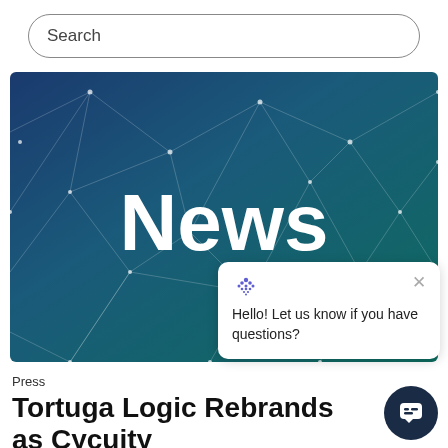Search
[Figure (illustration): Hero banner with blue-green network/mesh background and bold white text 'News' centered]
Hello! Let us know if you have questions?
Press
Tortuga Logic Rebrands as Cycuity